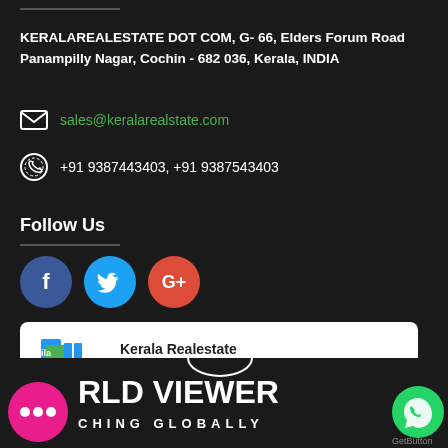KERALAREALESTATE DOT COM, G- 66, Elders Forum Road Panampilly Nagar, Cochin - 682 036, Kerala, INDIA
sales@keralarealstate.com
+91 9387443403, +91 9387543403
Follow Us
[Figure (other): Social media icons: Facebook (blue circle with f), Twitter (blue circle with bird), Google+ (red circle with G+)]
[Figure (other): Kerala Realestate chat widget with logo and 'Chat with us' text]
[Figure (logo): World Viewer logo and text: RLD VIEWER, CHING GLOBALLY, with chat bubble icon and WhatsApp button]
GetButton